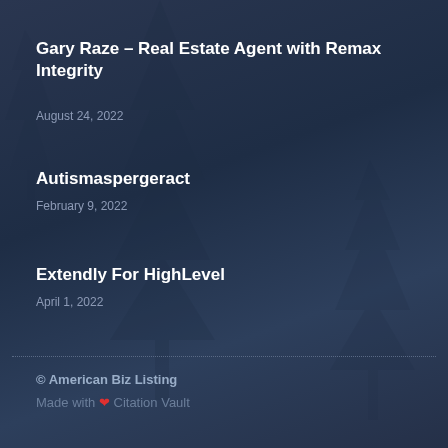Gary Raze – Real Estate Agent with Remax Integrity
August 24, 2022
Autismaspergeract
February 9, 2022
Extendly For HighLevel
April 1, 2022
© American Biz Listing
Made with ❤ Citation Vault